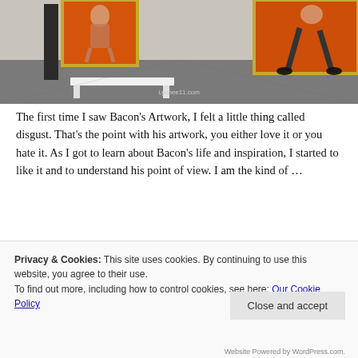[Figure (photo): Interior of an art gallery with white walls and gray floor. A white bench is in the center. Large orange-background paintings with figures are visible on the walls.]
The first time I saw Bacon's Artwork, I felt a little thing called disgust. That's the point with his artwork, you either love it or you hate it. As I got to learn about Bacon's life and inspiration, I started to like it and to understand his point of view. I am the kind of ...
Privacy & Cookies: This site uses cookies. By continuing to use this website, you agree to their use.
To find out more, including how to control cookies, see here: Our Cookie Policy
Website Powered by WordPress.com.